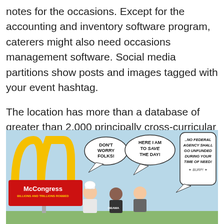notes for the occasions. Except for the accounting and inventory software program, caterers might also need occasions management software. Social media partitions show posts and images tagged with your event hashtag.
The location has more than a database of greater than 2,000 principally cross-curricular lessons associated to present occasions. Lori has over 15 years of experience within the Know-how Staffing trade, and is presently the Managing Director for the San Antonio office of Randstad Technologies.
[Figure (illustration): Political cartoon showing a McDonald's-style 'McCongress' sign with golden arches, subtitle 'Billions and Trillions Robbed', with speech bubbles: 'Don't worry folks!', 'Here I am to save the day!', and '..No federal agency shall go unfunded during your time of need! * BURP! *', with cartoon characters including one labeled 'Obama'.]